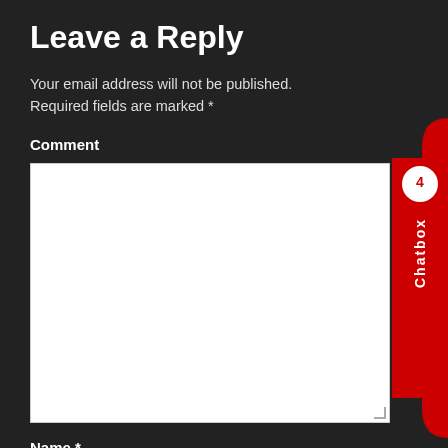Leave a Reply
Your email address will not be published. Required fields are marked *
Comment
[Figure (screenshot): Empty white comment textarea input box]
Name *